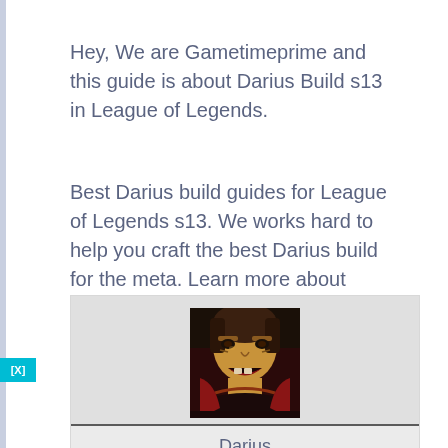Hey, We are Gametimeprime and this guide is about Darius Build s13 in League of Legends.
Best Darius build guides for League of Legends s13. We works hard to help you craft the best Darius build for the meta. Learn more about Darius's Runes, Items, Matchups.
[Figure (other): Card containing Darius champion portrait image, name label 'Darius', and role label 'Darius Top']